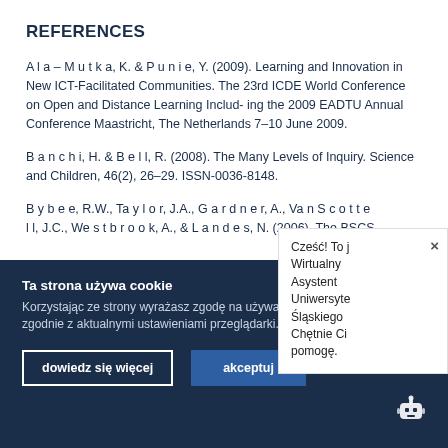REFERENCES
A l a – M u t k a, K. & P u n i e, Y. (2009). Learning and Innovation in New ICT-Facilitated Communities. The 23rd ICDE World Conference on Open and Distance Learning Includ- ing the 2009 EADTU Annual Conference Maastricht, The Netherlands 7–10 June 2009.
B a n c h i, H. & B e l l, R. (2008). The Many Levels of Inquiry. Science and Children, 46(2), 26–29. ISSN-0036-8148.
B y b e e, R.W., Ta y l o r, J.A., G a r d n e r, A., Va n S c o t t e l l, J.C., We s t b r o o k, A., & L a n d e s, N. (2006). The BSCS
Ta strona używa cookie
Korzystając ze strony wyrażasz zgodę na używanie cookie zgodnie z aktualnymi ustawieniami przeglądarki.
dowiedz się więcej
akceptuj
Cześć! To j Wirtualny Asystent Uniwersyte Śląskiego Chętnie Ci pomogę.